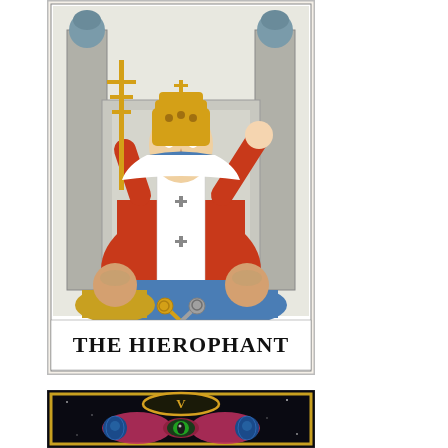[Figure (illustration): The Hierophant tarot card (Rider-Waite style). A robed religious figure wearing a golden crown sits on a throne between two pillars, raising his right hand in blessing and holding a golden triple cross scepter in his left. He wears red and white robes with crosses. Two tonsured monks kneel before him. The card has a white border and text at the bottom reading 'THE HIEROPHANT'.]
[Figure (illustration): A dark tarot card with a black background and gold border, showing a Roman numeral V inside a gold oval or eye shape at the top center. Below it is an hourglass or infinity-like shape with an alien/creature eye visible. The card appears to be an alternative or modern version of The Hierophant (V).]